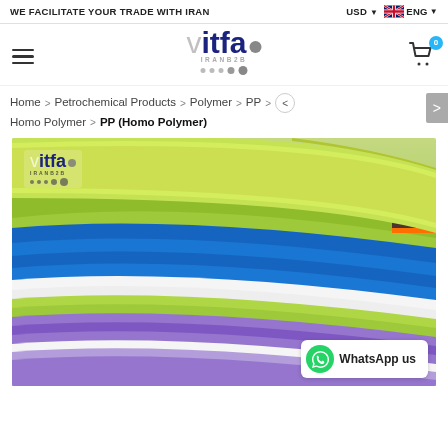WE FACILITATE YOUR TRADE WITH IRAN  |  USD  ENG
[Figure (logo): Vitfa IRANB2B logo with stylized text and dots]
Home > Petrochemical Products > Polymer > PP > Homo Polymer > PP (Homo Polymer)
[Figure (photo): Stack of colorful PP (Homo Polymer) felt/fabric sheets in green, blue, white, purple colors with Vitfa IRANB2B watermark logo and WhatsApp us button in bottom right corner]